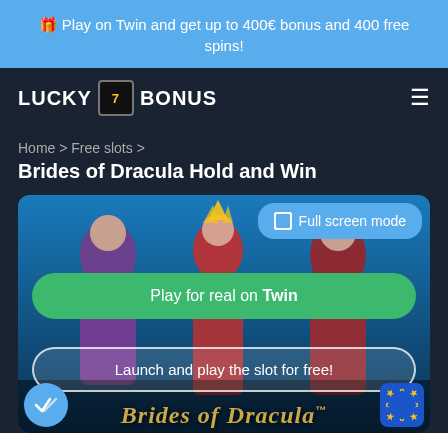🎁 Play on Twin and get up to 400€ bonus and 400 free spins!
[Figure (logo): Lucky 7 Bonus logo with slot machine icon and hamburger menu]
Home > Free slots > Brides of Dracula Hold and Win
[Figure (screenshot): Brides of Dracula slot game screenshot with Full screen mode button, Play for real on Twin green button, Launch and play the slot for free outline button, game title overlay, checkmark badge, and EU flag badge]